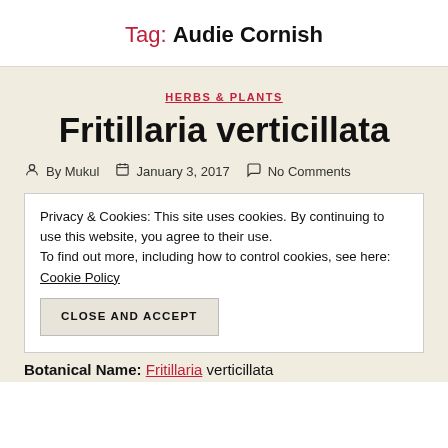Tag: Audie Cornish
HERBS & PLANTS
Fritillaria verticillata
By Mukul   January 3, 2017   No Comments
Privacy & Cookies: This site uses cookies. By continuing to use this website, you agree to their use.
To find out more, including how to control cookies, see here: Cookie Policy
CLOSE AND ACCEPT
Botanical Name: Fritillaria verticillata